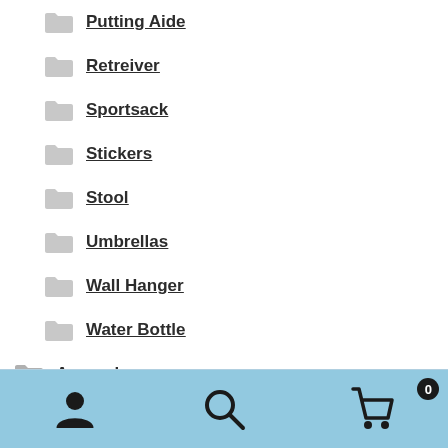Putting Aide
Retreiver
Sportsack
Stickers
Stool
Umbrellas
Wall Hanger
Water Bottle
Apparels
Beanie
Belt
Navigation bar with user, search, and cart icons